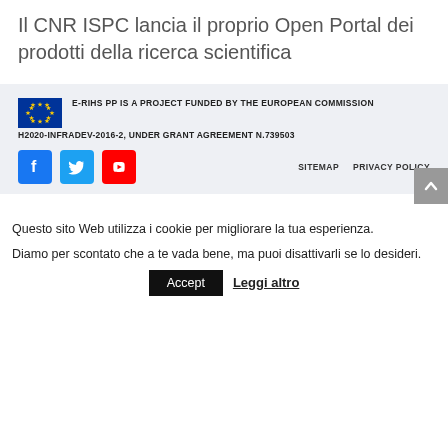Il CNR ISPC lancia il proprio Open Portal dei prodotti della ricerca scientifica
[Figure (logo): EU stars flag logo]
E-RIHS PP IS A PROJECT FUNDED BY THE EUROPEAN COMMISSION
H2020-INFRADEV-2016-2, UNDER GRANT AGREEMENT N.739503
[Figure (logo): Social media icons: Facebook, Twitter, YouTube]
SITEMAP   PRIVACY POLICY
Questo sito Web utilizza i cookie per migliorare la tua esperienza. Diamo per scontato che a te vada bene, ma puoi disattivarli se lo desideri.
Accept   Leggi altro